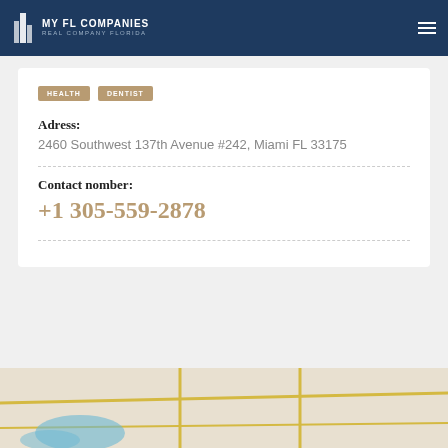MY FL COMPANIES REAL COMPANY FLORIDA
HEALTH DENTIST
Adress:
2460 Southwest 137th Avenue #242, Miami FL 33175
Contact nomber:
+1 305-559-2878
[Figure (map): Street map showing location near 2460 Southwest 137th Avenue, Miami FL 33175]